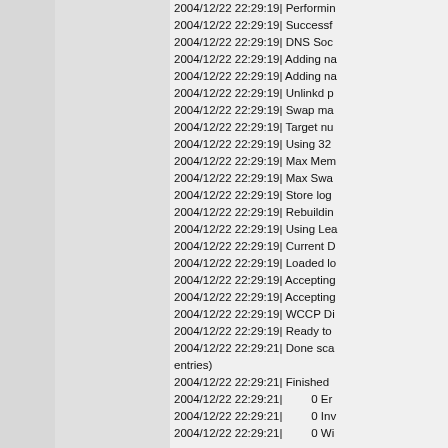Log output lines showing timestamps 2004/12/22 22:29:19 and 2004/12/22 22:29:21 with various system messages including Performing, Successfully, DNS Soc, Adding na, Adding na, Unlinkd p, Swap ma, Target nu, Using 32, Max Mem, Max Swa, Store log, Rebuildin, Using Lea, Current D, Loaded lo, Accepting, Accepting, WCCP Di, Ready to, Done sca entries), Finished, 0 Er, 0 Inv, 0 Wi